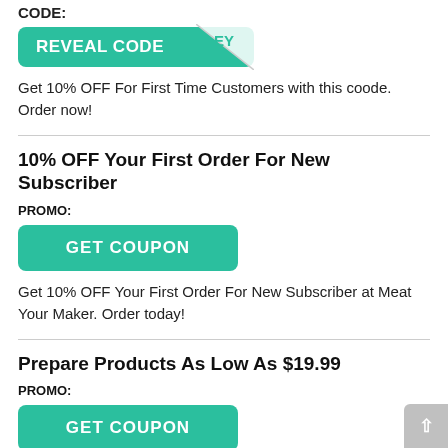CODE:
[Figure (other): REVEAL CODE button with peel-away corner effect showing partial code text]
Get 10% OFF For First Time Customers with this coode. Order now!
10% OFF Your First Order For New Subscriber
PROMO:
[Figure (other): GET COUPON button in teal/green color]
Get 10% OFF Your First Order For New Subscriber at Meat Your Maker. Order today!
Prepare Products As Low As $19.99
PROMO:
[Figure (other): GET COUPON button in teal/green color]
Prepare Products As Low As $19.99. Order now and save!